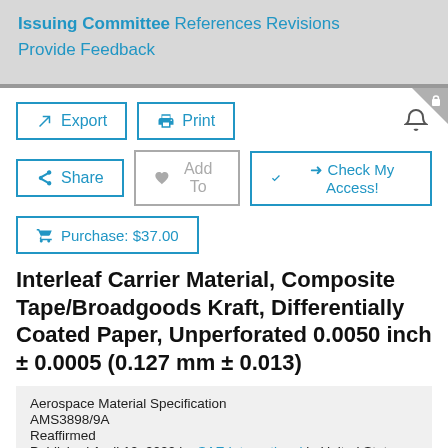Issuing Committee
References
Revisions
Provide Feedback
Export | Print | Share | Add To | Check My Access! | Purchase: $37.00
Interleaf Carrier Material, Composite Tape/Broadgoods Kraft, Differentially Coated Paper, Unperforated 0.0050 inch ± 0.0005 (0.127 mm ± 0.013)
Aerospace Material Specification
AMS3898/9A
Reaffirmed
Published April 12, 2022 by SAE International in United States